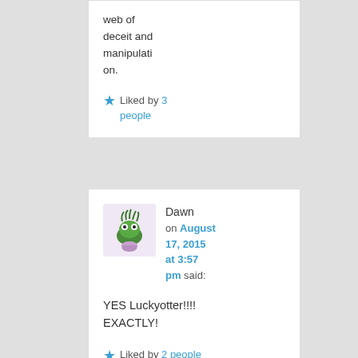web of deceit and manipulation.
Liked by 3 people
Dawn on August 17, 2015 at 3:57 pm said:
YES Luckyotter!!!! EXACTLY!
Liked by 2 people